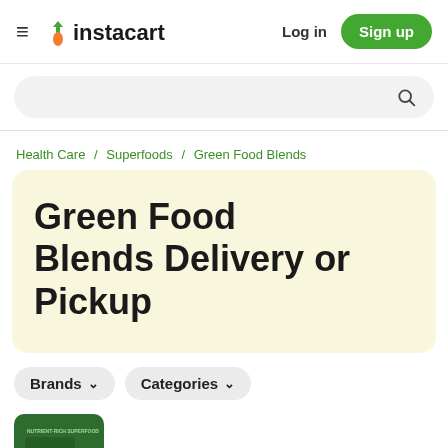≡ instacart   Log in   Sign up
Health Care / Superfoods / Green Food Blends
Green Food Blends Delivery or Pickup
Brands ∨   Categories ∨
[Figure (screenshot): Partial product card image showing a green package at the bottom of the page]